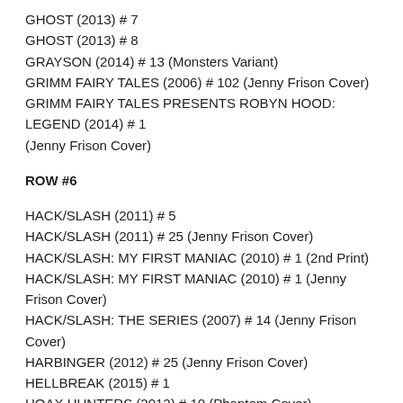GHOST (2013) # 7
GHOST (2013) # 8
GRAYSON (2014) # 13 (Monsters Variant)
GRIMM FAIRY TALES (2006) # 102 (Jenny Frison Cover)
GRIMM FAIRY TALES PRESENTS ROBYN HOOD: LEGEND (2014) # 1 (Jenny Frison Cover)
ROW #6
HACK/SLASH (2011) # 5
HACK/SLASH (2011) # 25 (Jenny Frison Cover)
HACK/SLASH: MY FIRST MANIAC (2010) # 1 (2nd Print)
HACK/SLASH: MY FIRST MANIAC (2010) # 1 (Jenny Frison Cover)
HACK/SLASH: THE SERIES (2007) # 14 (Jenny Frison Cover)
HARBINGER (2012) # 25 (Jenny Frison Cover)
HELLBREAK (2015) # 1
HOAX HUNTERS (2012) # 10 (Phantom Cover)
HOAX HUNTERS (2012) # 11 (Phantom Cover)
HOAX HUNTERS (2012) # 12 (Phantom Cover)
HOAX HUNTERS (2012) # 13 (Phantom Cover)
HOUSE OF NIGHT (2011) # 1